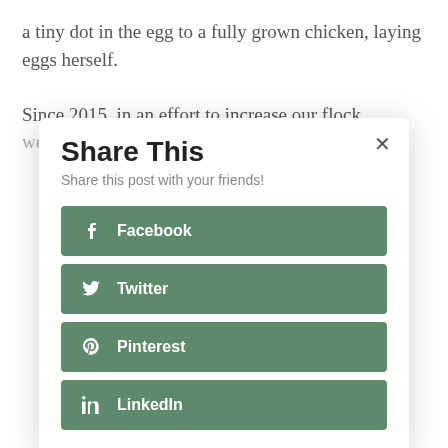a tiny dot in the egg to a fully grown chicken, laying eggs herself.
Since 2015, in an effort to increase our flock, we decided to hatch our own chickens after
[Figure (screenshot): A 'Share This' modal dialog with social sharing buttons for Facebook, Twitter, Pinterest, and LinkedIn. Each button is green with white icon and bold text. A close (×) button is in the top right corner. Subtitle reads 'Share this post with your friends!']